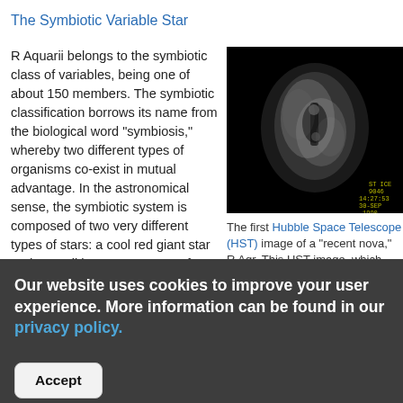The Symbiotic Variable Star
R Aquarii belongs to the symbiotic class of variables, being one of about 150 members. The symbiotic classification borrows its name from the biological word "symbiosis," whereby two different types of organisms co-exist in mutual advantage. In the astronomical sense, the symbiotic system is composed of two very different types of stars: a cool red giant star and a small hot star. Spectra of symbiotic stars suggests that there are, in fact, three regions which emit radiation. The first two
[Figure (photo): Hubble Space Telescope image of R Aquarii, a recent nova, showing the inner core resolved into two bright knots. Black background with glowing nebula structure. Timestamp visible in lower right corner.]
The first Hubble Space Telescope (HST) image of a "recent nova," R Aqr. This HST image, which was taken pre-corrective lense, shows the inner core of R Aqr resolved into two very bright knots. (The
Our website uses cookies to improve your user experience. More information can be found in our privacy policy.